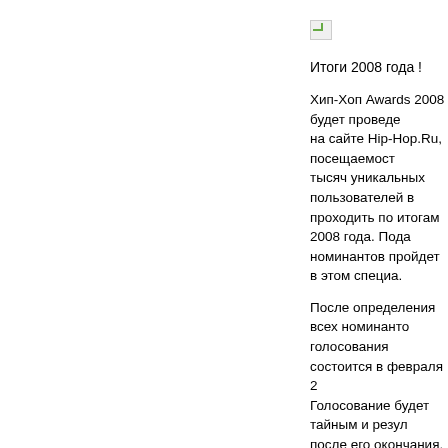[Figure (other): Broken/placeholder image icon (small, top area)]
Итоги 2008 года !
Хип-Хоп Awards 2008 будет проведе... на сайте Hip-Hop.Ru, посещаемост... тысяч уникальных пользователей в... проходить по итогам 2008 года. Пода... номинантов пройдет в этом специа...
После определения всех номинанто... голосования состоится в февраля 2... Голосование будет тайным и резул... после его окончания. Любой желаю... выбрать самых достойных в 3-х осн... Рэп", "Hip-Hop.Ru Форум" и "Восьмо...
Предварительный список категорий...
Восьмой Официальный - Лучшая... Ljey - MC Den
Восьмой Официальный - Лучший... MC Den - Вопреки законам природы...